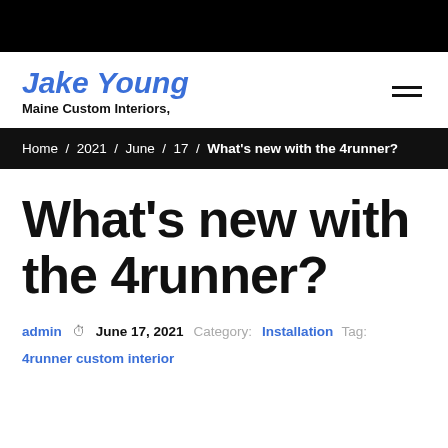Jake Young — Maine Custom Interiors,
Home / 2021 / June / 17 / What’s new with the 4runner?
What’s new with the 4runner?
admin  June 17, 2021  Category: Installation  Tag: 4runner custom interior